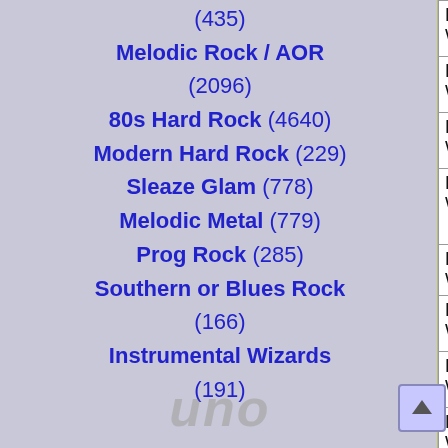(435)
Melodic Rock / AOR (2096)
80s Hard Rock (4640)
Modern Hard Rock (229)
Sleaze Glam (778)
Melodic Metal (779)
Prog Rock (285)
Southern or Blues Rock (166)
Instrumental Wizards (191)
| Artist | Label | Cover |
| --- | --- | --- |
| Doogie White | Cornerst |  |
| Doogie White | Cornerst |  |
| Doogie White | Cornerst |  |
| Doogie White | Cornerst |  |
| Doogie White | D-Rox |  |
| Doogie White | Demon's |  |
| Doogie White | Demon's |  |
| Doogie White | Doogie W and La R |  |
| Doogie White | Doogie W and La R |  |